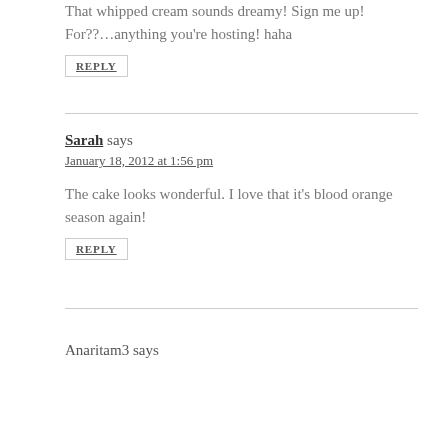That whipped cream sounds dreamy! Sign me up! For??…anything you're hosting! haha
REPLY
Sarah says
January 18, 2012 at 1:56 pm
The cake looks wonderful. I love that it's blood orange season again!
REPLY
Anaritam3 says